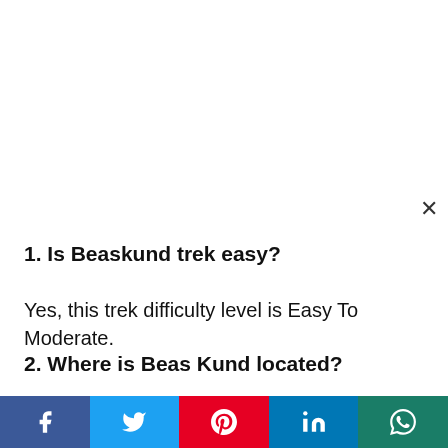1. Is Beaskund trek easy?
Yes, this trek difficulty level is Easy To Moderate.
2. Where is Beas Kund located?
Beas Kund is located in Dhauladhar Range in Mandi Himachal Pradesh